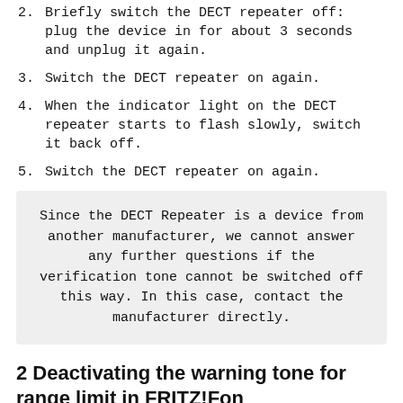2. Briefly switch the DECT repeater off: plug the device in for about 3 seconds and unplug it again.
3. Switch the DECT repeater on again.
4. When the indicator light on the DECT repeater starts to flash slowly, switch it back off.
5. Switch the DECT repeater on again.
Since the DECT Repeater is a device from another manufacturer, we cannot answer any further questions if the verification tone cannot be switched off this way. In this case, contact the manufacturer directly.
2 Deactivating the warning tone for range limit in FRITZ!Fon
When the range limit is reached, the telephone emits a warning tone because the connection could be lost and